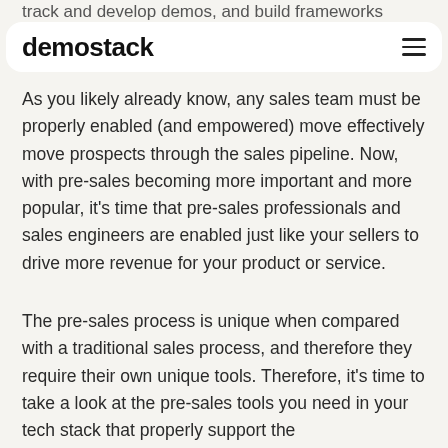track and develop demos, and build frameworks
demostack
As you likely already know, any sales team must be properly enabled (and empowered) move effectively move prospects through the sales pipeline. Now, with pre-sales becoming more important and more popular, it's time that pre-sales professionals and sales engineers are enabled just like your sellers to drive more revenue for your product or service.
The pre-sales process is unique when compared with a traditional sales process, and therefore they require their own unique tools. Therefore, it's time to take a look at the pre-sales tools you need in your tech stack that properly support the